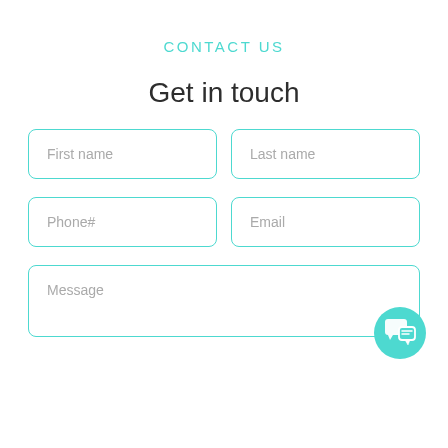CONTACT US
Get in touch
First name
Last name
Phone#
Email
Message